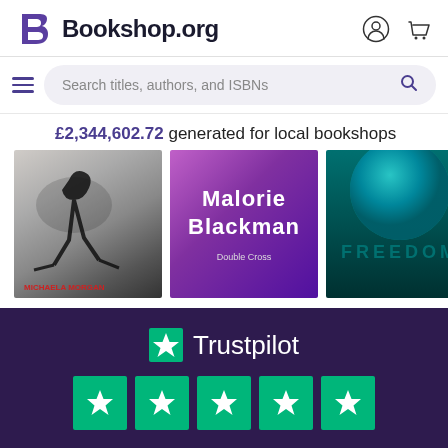Bookshop.org
Search titles, authors, and ISBNs
£2,344,602.72 generated for local bookshops
[Figure (photo): Three book covers: Michaela Morgan (dark skating silhouette), Malorie Blackman (purple/pink background with author name), and Freedom (teal planet/globe cover)]
[Figure (logo): Trustpilot logo with green star and text, followed by five green star rating boxes]